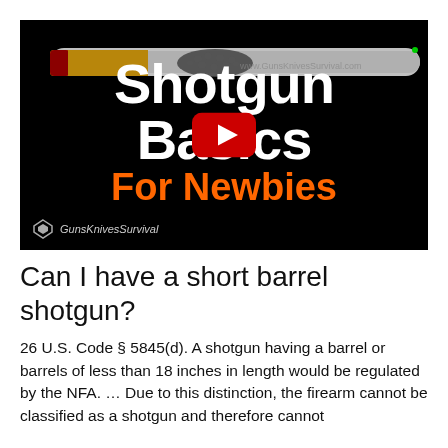[Figure (screenshot): YouTube video thumbnail for 'Shotgun Basics For Newbies' by GunsKnivesSurvival, featuring a cross-section of a shotgun shell/barrel on black background with large white bold text 'Shotgun Basics' and orange 'For Newbies', and a YouTube play button in the center.]
Can I have a short barrel shotgun?
26 U.S. Code § 5845(d). A shotgun having a barrel or barrels of less than 18 inches in length would be regulated by the NFA. … Due to this distinction, the firearm cannot be classified as a shotgun and therefore cannot